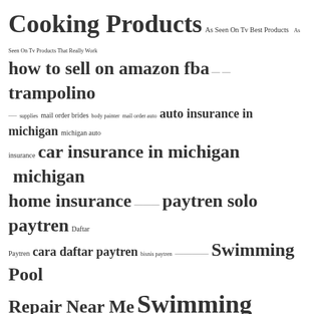Cooking Products As Seen On Tv Best Products As Seen On Tv Products That Really Work how to sell on amazon fba trampolino mail order brides body painter mail order auto insurance in michigan michigan auto insurance car insurance in michigan michigan home insurance paytren solo paytren Daftar Paytren cara daftar paytren bisnis paytren Swimming Pool Repair Near Me Swimming Pool Leak Repair Products Swimming Pool Equipment Repair big island family portrait photographers waikiki photographers kauai photographers print kain Denpasar swimming pool maintenance company swimming pool maintenance service